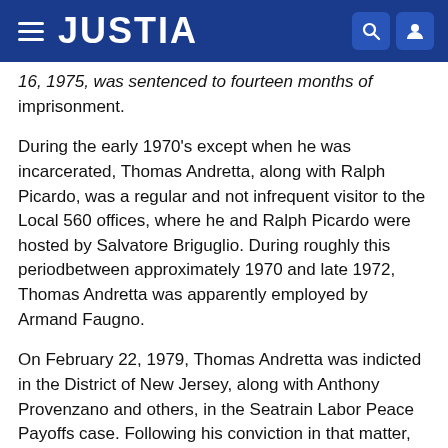JUSTIA
16, 1975, was sentenced to fourteen months of imprisonment.
During the early 1970's except when he was incarcerated, Thomas Andretta, along with Ralph Picardo, was a regular and not infrequent visitor to the Local 560 offices, where he and Ralph Picardo were hosted by Salvatore Briguglio. During roughly this periodbetween approximately 1970 and late 1972, Thomas Andretta was apparently employed by Armand Faugno.
On February 22, 1979, Thomas Andretta was indicted in the District of New Jersey, along with Anthony Provenzano and others, in the Seatrain Labor Peace Payoffs case. Following his conviction in that matter, he was sentenced on July 10, 1979 to a twenty-year term of imprisonment. United States v. Provenzano, 620 F.2d 985,